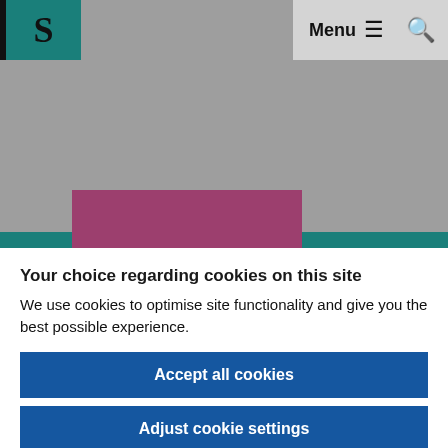[Figure (screenshot): Website header with teal logo box containing letter S, navigation bar with Menu and search icon, grey background with teal horizontal bar and mauve rectangle visible as image placeholder]
Your choice regarding cookies on this site
We use cookies to optimise site functionality and give you the best possible experience.
Accept all cookies
Adjust cookie settings